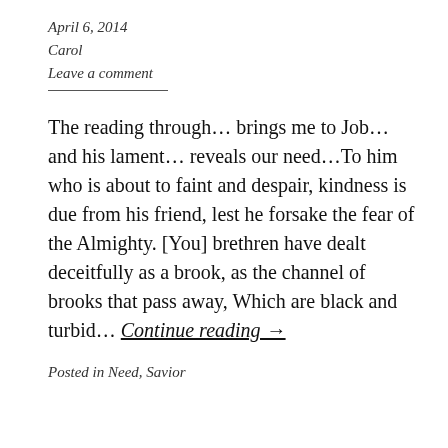April 6, 2014
Carol
Leave a comment
The reading through... brings me to Job... and his lament... reveals our need...To him who is about to faint and despair, kindness is due from his friend, lest he forsake the fear of the Almighty. [You] brethren have dealt deceitfully as a brook, as the channel of brooks that pass away, Which are black and turbid... Continue reading →
Posted in Need, Savior